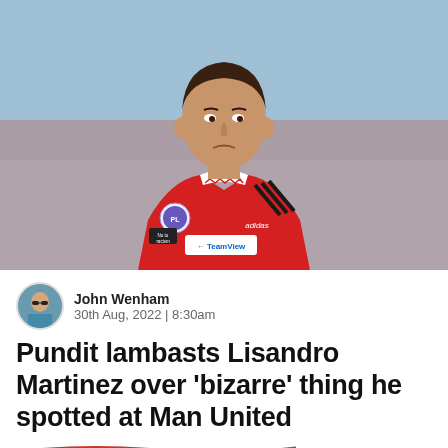[Figure (photo): A football player wearing a red Manchester United jersey with adidas logo, Premier League badge, TeamViewer sponsor, and a white collar with chevron pattern. The player appears to be Lisandro Martinez on the pitch.]
John Wenham
30th Aug, 2022 | 8:30am
Pundit lambasts Lisandro Martinez over 'bizarre' thing he spotted at Man United
[Figure (screenshot): Advertisement banner showing 'Hold and Move' text with a person icon, dark background, partial scoreboard visible at top showing numbers +20 and 32.]